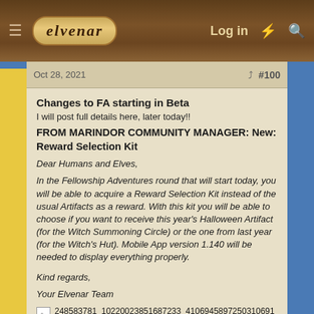ELVENAR | Log in
Oct 28, 2021   #100
Changes to FA starting in Beta
I will post full details here, later today!!
FROM MARINDOR COMMUNITY MANAGER: New: Reward Selection Kit
Dear Humans and Elves,
In the Fellowship Adventures round that will start today, you will be able to acquire a Reward Selection Kit instead of the usual Artifacts as a reward. With this kit you will be able to choose if you want to receive this year's Halloween Artifact (for the Witch Summoning Circle) or the one from last year (for the Witch's Hut). Mobile App version 1.140 will be needed to display everything properly.

Kind regards,
Your Elvenar Team
[Figure (photo): Image file: 248583781_10220023851687233_4106945897250310691_n.jpg]